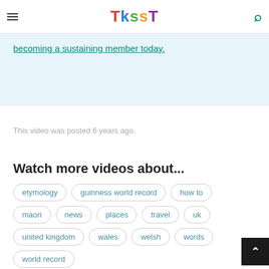TKSST
becoming a sustaining member today.
This video was posted 6 years ago.
Watch more videos about...
etymology
guinness world record
how to
maori
news
places
travel
uk
united kingdom
wales
welsh
words
world record